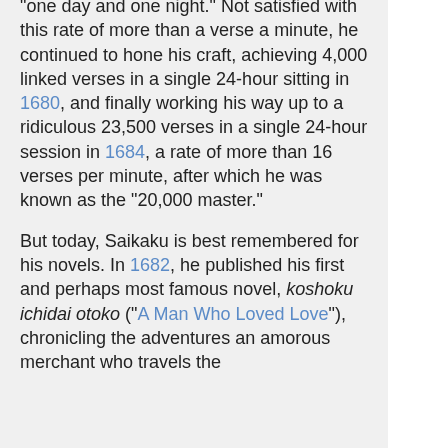"one day and one night." Not satisfied with this rate of more than a verse a minute, he continued to hone his craft, achieving 4,000 linked verses in a single 24-hour sitting in 1680, and finally working his way up to a ridiculous 23,500 verses in a single 24-hour session in 1684, a rate of more than 16 verses per minute, after which he was known as the "20,000 master."
But today, Saikaku is best remembered for his novels. In 1682, he published his first and perhaps most famous novel, koshoku ichidai otoko ("A Man Who Loved Love"), chronicling the adventures an amorous merchant who travels the